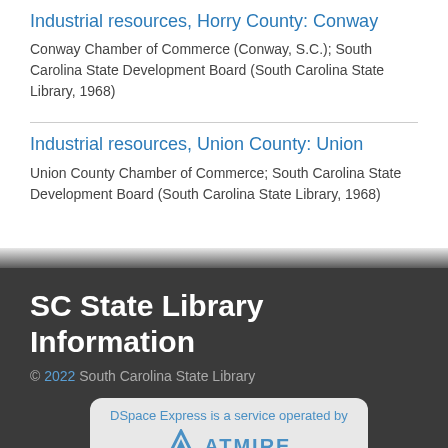Industrial resources, Horry County: Conway
Conway Chamber of Commerce (Conway, S.C.); South Carolina State Development Board (South Carolina State Library, 1968)
Industrial resources, Union County: Union
Union County Chamber of Commerce; South Carolina State Development Board (South Carolina State Library, 1968)
SC State Library Information
© 2022  South Carolina State Library
DSpace Express is a service operated by ATMIRE